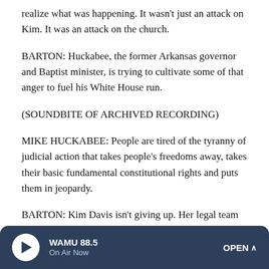realize what was happening. It wasn't just an attack on Kim. It was an attack on the church.
BARTON: Huckabee, the former Arkansas governor and Baptist minister, is trying to cultivate some of that anger to fuel his White House run.
(SOUNDBITE OF ARCHIVED RECORDING)
MIKE HUCKABEE: People are tired of the tyranny of judicial action that takes people's freedoms away, takes their basic fundamental constitutional rights and puts them in jeopardy.
BARTON: Kim Davis isn't giving up. Her legal team has
WAMU 88.5 | On Air Now | OPEN